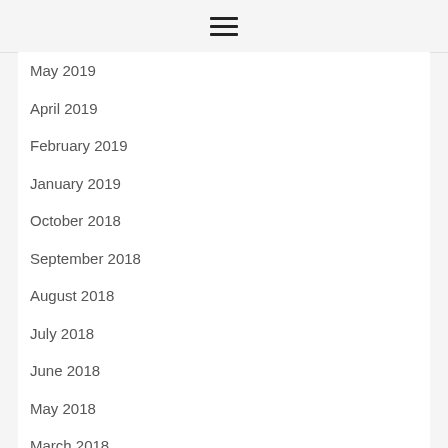≡
May 2019
April 2019
February 2019
January 2019
October 2018
September 2018
August 2018
July 2018
June 2018
May 2018
March 2018
February 2018
January 2018
December 2017